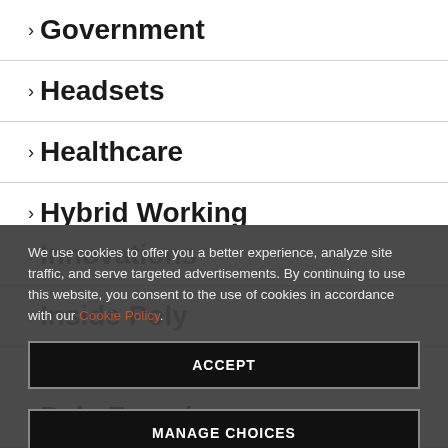> Government
> Headsets
> Healthcare
> Hybrid Working
> Innovations
> Inside Poly
We use cookies to offer you a better experience, analyze site traffic, and serve targeted advertisements. By continuing to use this website, you consent to the use of cookies in accordance with our Cookie Policy.
ACCEPT
MANAGE CHOICES
> Poly Experience